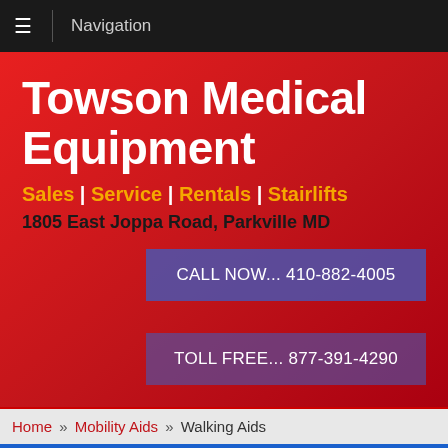Navigation
Towson Medical Equipment
Sales | Service | Rentals | Stairlifts
1805 East Joppa Road, Parkville MD
CALL NOW... 410-882-4005
TOLL FREE... 877-391-4290
Home » Mobility Aids » Walking Aids
Call Now! 410-882-4005